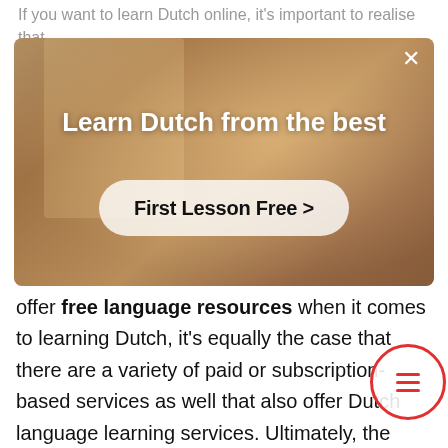If you want to learn Dutch online, it's important to realise that some websites are free, while others offer premium content for
[Figure (photo): Advertisement overlay showing a person with arms outstretched in a warm-toned indoor setting, with text 'Learn Dutch from the best' and a button 'First Lesson Free >']
offer free language resources when it comes to learning Dutch, it's equally the case that there are a variety of paid or subscription-based services as well that also offer Dutch language learning services. Ultimately, the decision of whether to pay to learn Dutch is yours alone and may be influ... by factors such as your budget, how intensiv... need to improve your level of Dutch, and how